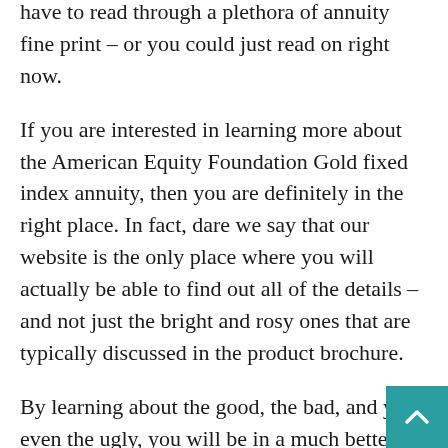have to read through a plethora of annuity fine print – or you could just read on right now.
If you are interested in learning more about the American Equity Foundation Gold fixed index annuity, then you are definitely in the right place. In fact, dare we say that our website is the only place where you will actually be able to find out all of the details – and not just the bright and rosy ones that are typically discussed in the product brochure.
By learning about the good, the bad, and yes, even the ugly, you will be in a much better position to determine whether or